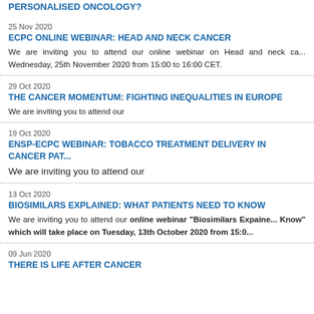PERSONALISED ONCOLOGY?
25 Nov 2020
ECPC ONLINE WEBINAR: HEAD AND NECK CANCER
We are inviting you to attend our online webinar on Head and neck ca... Wednesday, 25th November 2020 from 15:00 to 16:00 CET.
29 Oct 2020
THE CANCER MOMENTUM: FIGHTING INEQUALITIES IN EUROPE
We are inviting you to attend our
19 Oct 2020
ENSP-ECPC WEBINAR: TOBACCO TREATMENT DELIVERY IN CANCER PAT...
We are inviting you to attend our
13 Oct 2020
BIOSIMILARS EXPLAINED: WHAT PATIENTS NEED TO KNOW
We are inviting you to attend our online webinar "Biosimilars Explained... Know" which will take place on Tuesday, 13th October 2020 from 15:0...
09 Jun 2020
THERE IS LIFE AFTER CANCER